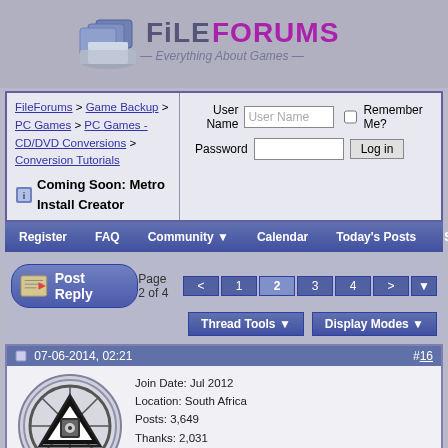[Figure (logo): FileForums logo — Everything About Games, with card/box icon on left, purple and gray text]
FileForums > Game Backup > PC Games > PC Games - CD/DVD Conversions > Conversion Tutorials
Coming Soon: Metro Install Creator
User Name | Password | Remember Me? | Log in
Register  FAQ  Community  Calendar  Today's Posts  Search
Post Reply | Page 2 of 4 < 1 2 3 4 >
Thread Tools  Display Modes
07-06-2014, 02:21  #16
[Figure (illustration): User avatar: circular logo with triangle and eye design in black and white]
Razor12911
Programmer
Join Date: Jul 2012
Location: South Africa
Posts: 3,649
Thanks: 2,031
Thanked 10,448 Times in 2,214 Posts